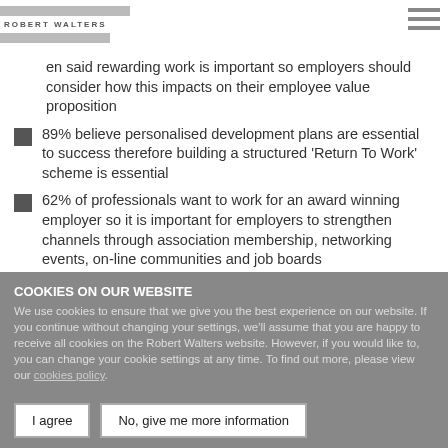ROBERT WALTERS
en said rewarding work is important so employers should consider how this impacts on their employee value proposition
89% believe personalised development plans are essential to success therefore building a structured 'Return To Work' scheme is essential
62% of professionals want to work for an award winning employer so it is important for employers to strengthen channels through association membership, networking events, on-line communities and job boards
COOKIES ON OUR WEBSITE
We use cookies to ensure that we give you the best experience on our website. If you continue without changing your settings, we'll assume that you are happy to receive all cookies on the Robert Walters website. However, if you would like to, you can change your cookie settings at any time. To find out more, please view our cookies policy.
I agree | No, give me more information